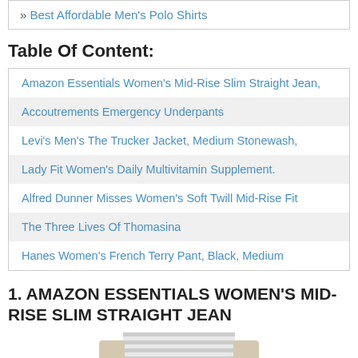» Best Affordable Men's Polo Shirts
Table Of Content:
| Amazon Essentials Women's Mid-Rise Slim Straight Jean, |
| Accoutrements Emergency Underpants |
| Levi's Men's The Trucker Jacket, Medium Stonewash, |
| Lady Fit Women's Daily Multivitamin Supplement. |
| Alfred Dunner Misses Women's Soft Twill Mid-Rise Fit |
| The Three Lives Of Thomasina |
| Hanes Women's French Terry Pant, Black, Medium |
1. AMAZON ESSENTIALS WOMEN'S MID-RISE SLIM STRAIGHT JEAN
[Figure (photo): Partial photo of a person wearing a striped shirt, cropped at the bottom of the page.]